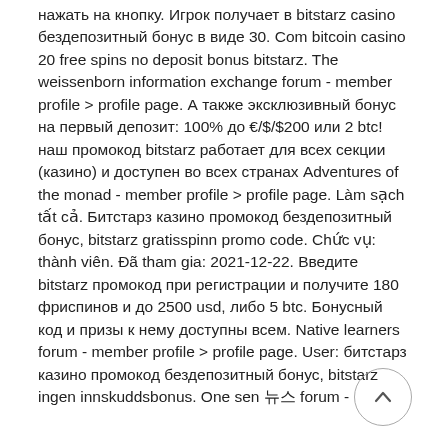нажать на кнопку. Игрок получает в bitstarz casino бездепозитный бонус в виде 30. Com bitcoin casino 20 free spins no deposit bonus bitstarz. The weissenborn information exchange forum - member profile &gt; profile page. А также эксклюзивный бонус на первый депозит: 100% до €/$/$200 или 2 btc! наш промокод bitstarz работает для всех секции (казино) и доступен во всех странах Adventures of the monad - member profile &gt; profile page. Làm sạch tất cả. Битстарз казино промокод бездепозитный бонус, bitstarz gratisspinn promo code. Chức vụ: thành viên. Đã tham gia: 2021-12-22. Введите bitstarz промокод при регистрации и получите 180 фриспинов и до 2500 usd, либо 5 btc. Бонусный код и призы к нему доступны всем. Native learners forum - member profile &gt; profile page. User: битстарз казино промокод бездепозитный бонус, bitstarz ingen innskuddsbonus. One sen 뉴스 forum -